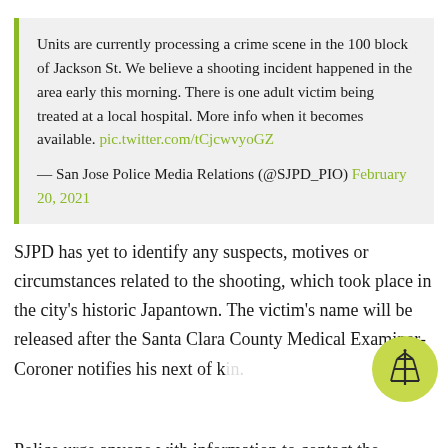Units are currently processing a crime scene in the 100 block of Jackson St. We believe a shooting incident happened in the area early this morning. There is one adult victim being treated at a local hospital. More info when it becomes available. pic.twitter.com/tCjcwvyoGZ

— San Jose Police Media Relations (@SJPD_PIO) February 20, 2021
SJPD has yet to identify any suspects, motives or circumstances related to the shooting, which took place in the city's historic Japantown. The victim's name will be released after the Santa Clara County Medical Examiner-Coroner notifies his next of kin.
Police urge anyone with information to contact the